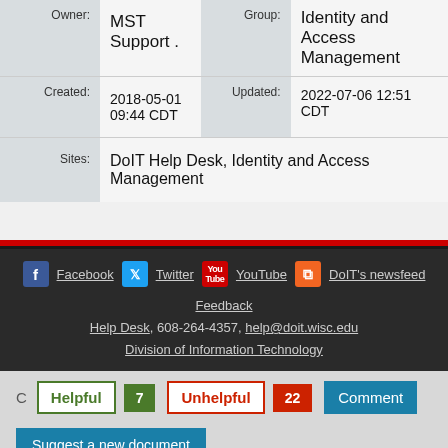| Label | Value | Label2 | Value2 |
| --- | --- | --- | --- |
| Owner: | MST Support . | Group: | Identity and Access Management |
| Created: | 2018-05-01 09:44 CDT | Updated: | 2022-07-06 12:51 CDT |
| Sites: | DoIT Help Desk, Identity and Access Management |  |  |
Facebook  Twitter  YouTube  DoIT's newsfeed
Feedback
Help Desk, 608-264-4357, help@doit.wisc.edu
Division of Information Technology
Helpful 7  Unhelpful 22  Comment
Suggest a new document